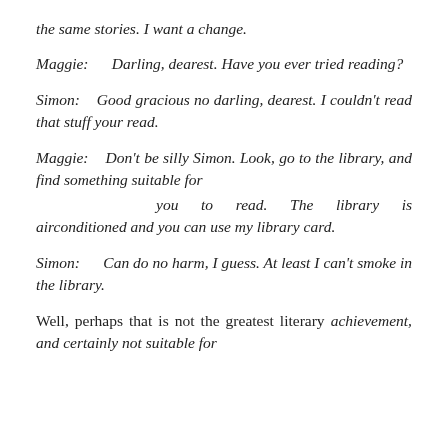the same stories. I want a change.
Maggie:      Darling, dearest. Have you ever tried reading?
Simon:    Good gracious no darling, dearest. I couldn't read that stuff your read.
Maggie:    Don't be silly Simon. Look, go to the library, and find something suitable for
you to read. The library is airconditioned and you can use my library card.
Simon:      Can do no harm, I guess. At least I can't smoke in the library.
Well, perhaps that is not the greatest literary achievement, and certainly not suitable for